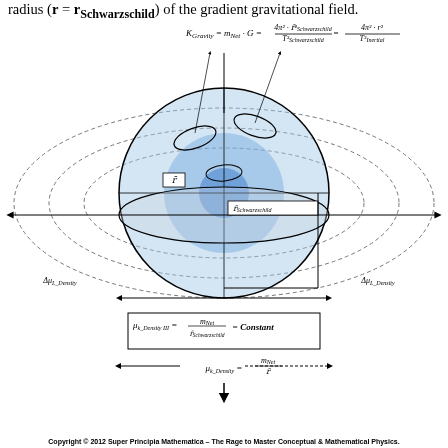radius (r = r_Schwarzschild) of the gradient gravitational field.
[Figure (engineering-diagram): Diagram of Schwarzschild gravitational field showing a central sphere with orbital rings, dashed elliptical field lines extending outward, axis lines, labels for r (orbital radius), r_Schwarzschild, delta_mu_L_Density on left and right sides, and the equation K_Gravity = m_Net * G = 4pi^2 * r_Schwarzschild^2 / T_Schwarzschild^2 = 4pi^2 * r^2 / T_Inertial^2 at the top. Below the sphere are two equations in a box: mu_k_Density_III = m_Net / r_Schwarzschild = Constant, and mu_k_Density = m_Net / r. A downward arrow follows.]
Copyright © 2012 Super Principia Mathematica – The Rage to Master Conceptual & Mathematical Physics.